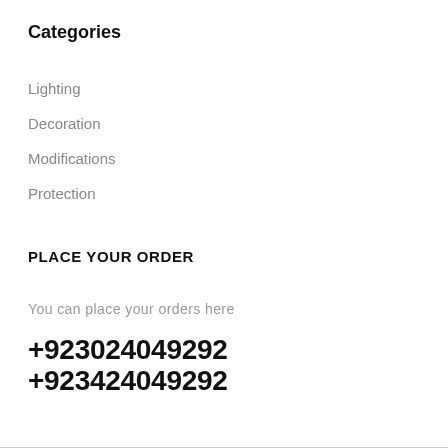Categories
Lighting
Decoration
Modifications
Protection
PLACE YOUR ORDER
You can place your orders here
+923024049292 +923424049292